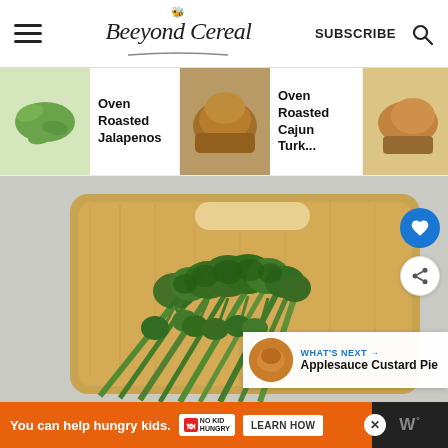Beeyond Cereal — SUBSCRIBE
[Figure (screenshot): Website navigation header with hamburger menu, Beeyond Cereal logo, SUBSCRIBE text and search icon]
[Figure (screenshot): Horizontal carousel with three recipe thumbnails: Oven Roasted Jalapenos, Oven Roasted Cajun Turk..., Juicy Ove Roas D Brine...]
Oven Roasted Jalapenos
Oven Roasted Cajun Turk...
Juicy Ove Roas D Brine...
[Figure (photo): Photo of fresh broccolini on a wooden cutting board, with heart/like and share floating action buttons. What's Next panel: Applesauce Custard Pie]
WHAT'S NEXT → Applesauce Custard Pie
You can help hungry kids. NO KID HUNGRY LEARN HOW